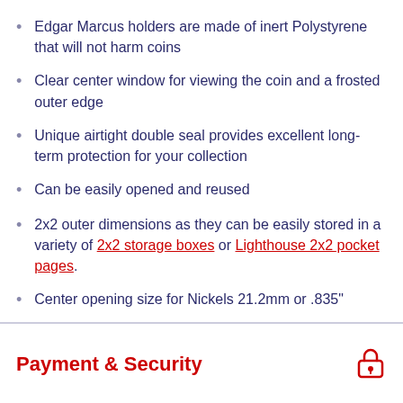Edgar Marcus holders are made of inert Polystyrene that will not harm coins
Clear center window for viewing the coin and a frosted outer edge
Unique airtight double seal provides excellent long-term protection for your collection
Can be easily opened and reused
2x2 outer dimensions as they can be easily stored in a variety of 2x2 storage boxes or Lighthouse 2x2 pocket pages.
Center opening size for Nickels 21.2mm or .835"
Payment & Security